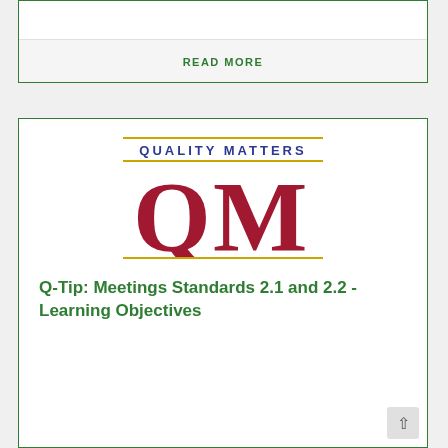READ MORE
[Figure (logo): Quality Matters (QM) logo with 'QUALITY MATTERS' text in blue above large red QM letters, framed by two gold horizontal lines]
Q-Tip: Meetings Standards 2.1 and 2.2 - Learning Objectives